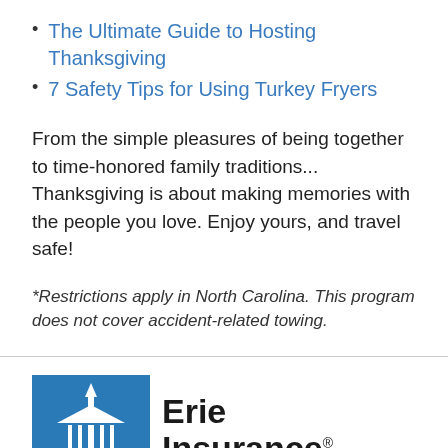The Ultimate Guide to Hosting Thanksgiving
7 Safety Tips for Using Turkey Fryers
From the simple pleasures of being together to time-honored family traditions... Thanksgiving is about making memories with the people you love. Enjoy yours, and travel safe!
*Restrictions apply in North Carolina. This program does not cover accident-related towing.
[Figure (logo): Erie Insurance logo — blue square with white church/building icon, text 'Erie Insurance' in bold black]